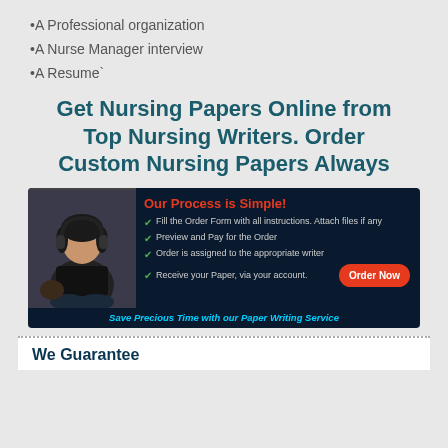•A Professional organization
•A Nurse Manager interview
•A Resume`
Get Nursing Papers Online from Top Nursing Writers. Order Custom Nursing Papers Always
[Figure (infographic): Dark navy banner with a photo of a woman sitting cross-legged with headphones, titled 'Our Process is Simple!' in red, listing four steps with green checkmarks, an orange 'Order Now' button, and cyan italic footer text 'Save Precious Time with our Paper Writing Service']
We Guarantee